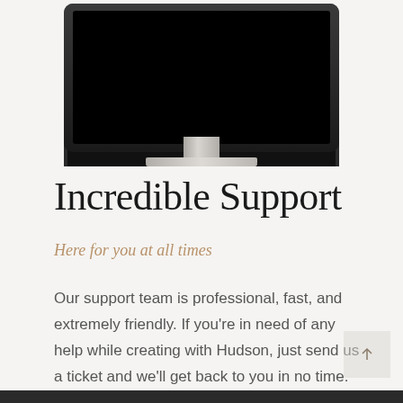[Figure (illustration): iMac desktop computer illustration with black screen and silver stand, cropped at the top of the page]
Incredible Support
Here for you at all times
Our support team is professional, fast, and extremely friendly. If you're in need of any help while creating with Hudson, just send us a ticket and we'll get back to you in no time.